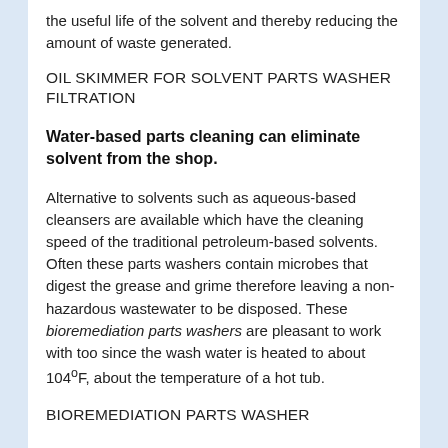the useful life of the solvent and thereby reducing the amount of waste generated.
OIL SKIMMER FOR SOLVENT PARTS WASHER FILTRATION
Water-based parts cleaning can eliminate solvent from the shop.
Alternative to solvents such as aqueous-based cleansers are available which have the cleaning speed of the traditional petroleum-based solvents.  Often these parts washers contain microbes that digest the grease and grime therefore leaving a non-hazardous wastewater to be disposed. These bioremediation parts washers are pleasant to work with too since the wash water is heated to about 104°F, about the temperature of a hot tub.
BIOREMEDIATION PARTS WASHER